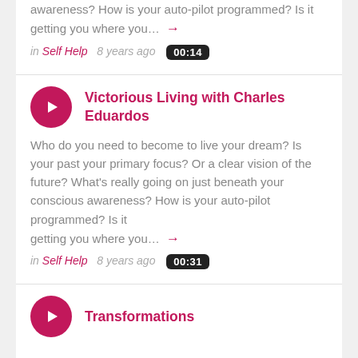awareness? How is your auto-pilot programmed? Is it getting you where you… →
in Self Help  8 years ago  00:14
Victorious Living with Charles Eduardos
Who do you need to become to live your dream? Is your past your primary focus? Or a clear vision of the future? What's really going on just beneath your conscious awareness? How is your auto-pilot programmed? Is it getting you where you… →
in Self Help  8 years ago  00:31
Transformations